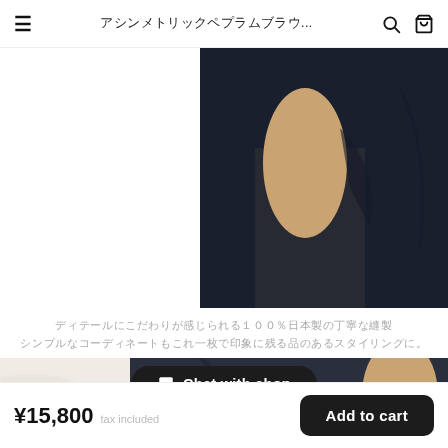アシンメトリックペプラムブラウ...
[Figure (photo): Close-up of a dark navy blouse on a mannequin, showing shoulder and fabric detail with French sleeve design]
ディテールにこだわりが感じられる１００％日本製の丁寧な縫製
シンプルなコーディネートもこれ一枚で印象に残る品のあるスタイリングに。
[Figure (photo): Partial view of a model wearing the blouse, showing the lower portion and styling]
Chat with shop
¥15,800 tax included
Add to cart